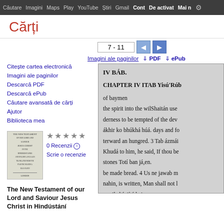Căutare Imagini Maps Play YouTube Știri Gmail Cont De activat Mai multe
Cărți
7 - 11
Imagini ale paginilor   PDF   ePub
Citește cartea electronică
Imagini ale paginilor
Descarcă PDF
Descarcă ePub
Căutare avansată de cărți
Ajutor
Biblioteca mea
[Figure (illustration): Thumbnail of the book cover for The New Testament of our Lord and Saviour Jesus Christ in Hindustani]
0 Recenzii
Scrie o recenzie
[Figure (other): Book page preview panel showing IV BÁB. CHAPTER IV ITAB Yisú'Rúb of baymen the spirit into the wilShaitán use derness to be tempted of the dev ákhir ko bhúkhá húá. days and fo terward an hungred. 3 Tab ázmái Khudá to him, he said, If thou be stones Totí ban já,en. be made bread. 4 Us ne jawab m nahin, is written, Man shall not l se nikaltí, jítá hai.]
The New Testament of our Lord and Saviour Jesus Christ in Hindústání and English